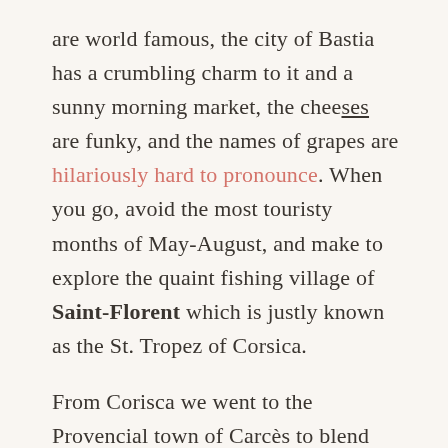are world famous, the city of Bastia has a crumbling charm to it and a sunny morning market, the cheeses are funky, and the names of grapes are hilariously hard to pronounce. When you go, avoid the most touristy months of May-August, and make to explore the quaint fishing village of Saint-Florent which is justly known as the St. Tropez of Corsica.
From Corisca we went to the Provencial town of Carcès to blend our Rosé de Printemps. Read more about that adventure on our Printemps post.
We stopped in Bandol and spent the night in a quintessential French Rivieria town called Sanary sur Mer, home to many American and English ex-